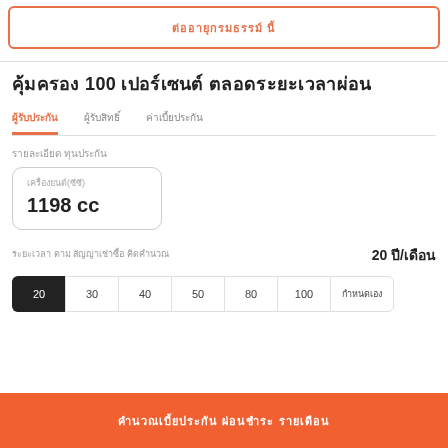ต่ออายุกรมธรรม์ นี้
คุ้มครอง 100 เปอร์เซนต์ ตลอดระยะเวลาผ่อน
ผู้รับประกัน
ผู้รับสิทธิ์
ค่าเบี้ยประกัน
รายละเอียด ทุนประกัน
เครื่องยนต์(ซีซี)
1198 cc
ระยะเวลา ตาม สัญญาเช่าซื้อ คิดคำนวณ
20 ปี/เดือน
20   30   40   50   80   100   กำหนดเอง
คำนวณเบี้ยประกัน ผ่อนชำระ รายเดือน